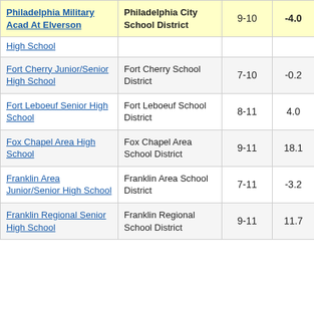| School | District | Grades | Change |  |
| --- | --- | --- | --- | --- |
| Philadelphia Military Acad At Elverson | Philadelphia City School District | 9-10 | -4.0 |  |
| High School |  |  |  |  |
| Fort Cherry Junior/Senior High School | Fort Cherry School District | 7-10 | -0.2 |  |
| Fort Leboeuf Senior High School | Fort Leboeuf School District | 8-11 | 4.0 |  |
| Fox Chapel Area High School | Fox Chapel Area School District | 9-11 | 18.1 |  |
| Franklin Area Junior/Senior High School | Franklin Area School District | 7-11 | -3.2 |  |
| Franklin Regional Senior High School | Franklin Regional School District | 9-11 | 11.7 |  |